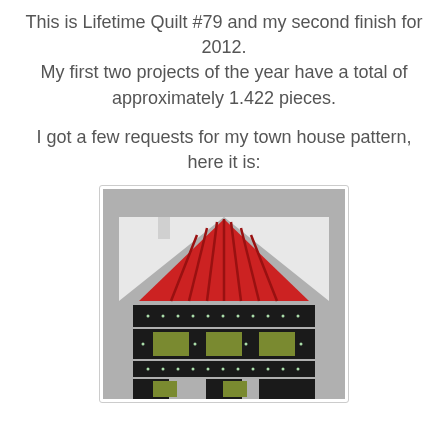This is Lifetime Quilt #79 and my second finish for 2012.
My first two projects of the year have a total of approximately 1.422 pieces.
I got a few requests for my town house pattern, here it is:
[Figure (photo): A quilt block showing a town house pattern. The block features a triangular roof made of red striped fabric with grey/white background triangles on either side, and below it are rows of dark dotted fabric (black with small dots) alternating with olive/green square patches, arranged to suggest windows and walls of a townhouse.]